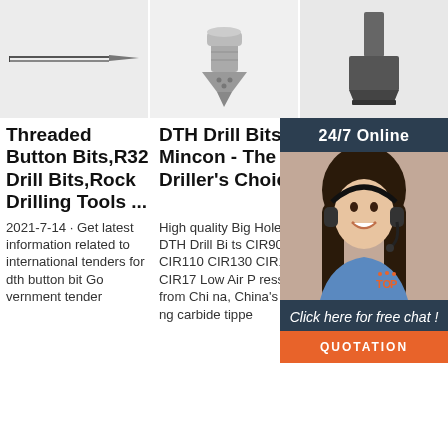[Figure (photo): Three product images in a row: a long thin needle/drill bit, a DTH conical drill bit, and a wide chisel bit]
Threaded Button Bits,R32 Drill Bits,Rock Drilling Tools ...
DTH Drill Bits » Mincon - The Driller's Choice
Do Ho Dth Bit An...
2021-7-14 · Get latest information related to international tenders for dth button bit Government tender
High quality Big Hole DTH Drill Bits CIR90 CIR110 CIR130 CIR150 CIR17 Low Air Pressure from China, China's leading carbide tippe
Mai one Spring machine, Stone Cutting Machines, Stone Splitter, Pushing Air Bag, Button Bit Grinder